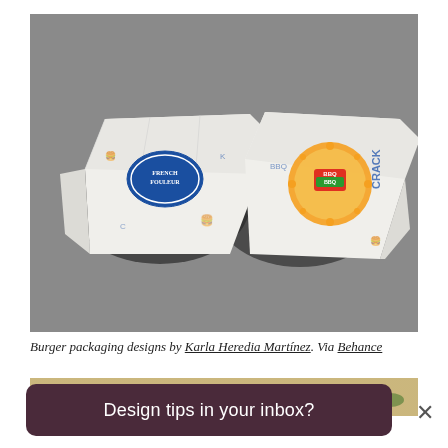[Figure (photo): Two burger wrappers on a grey concrete surface. The left wrapper shows a blue oval 'French Fouleur' label with blue illustrated burger graphics. The right wrapper shows an orange/yellow circular ornamental design with 'BBQ' text in green on a red/orange badge, and 'CRACK' text in blue.]
Burger packaging designs by Karla Heredia Martínez. Via Behance
[Figure (photo): Partial view of a second photo showing food on a warm beige/tan background with a green garnish visible.]
Design tips in your inbox?